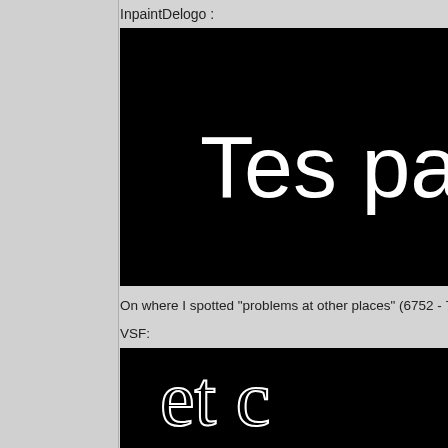InpaintDelogo :
[Figure (screenshot): Black background video frame showing white text 'Tes pa' (partially cropped) — output from InpaintDelogo filter]
On where I spotted "problems at other places" (6752 - 7…
VSF:
[Figure (screenshot): Black background video frame showing outline/hollow white text 'et c' (partially cropped) — VSF filter output]